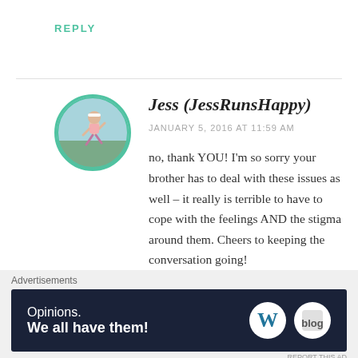REPLY
[Figure (photo): Circular avatar photo of a person running outdoors, with a teal/cyan border]
Jess (JessRunsHappy)
JANUARY 5, 2016 AT 11:59 AM
no, thank YOU! I'm so sorry your brother has to deal with these issues as well – it really is terrible to have to cope with the feelings AND the stigma around them. Cheers to keeping the conversation going!
★ Liked by 1 person
Advertisements
[Figure (screenshot): WordPress advertisement banner: dark navy background, white text reading 'Opinions. We all have them!' with WordPress 'W' logo and another circular logo on the right]